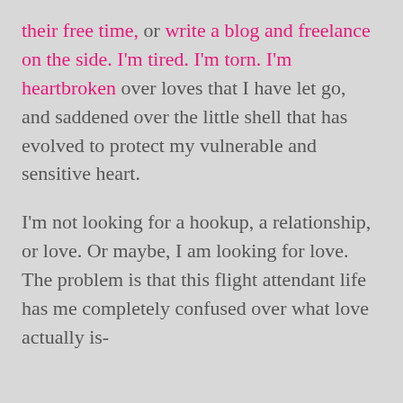their free time, or write a blog and freelance on the side.  I'm tired.  I'm torn.  I'm heartbroken over loves that I have let go, and saddened over the little shell that has evolved to protect my vulnerable and sensitive heart.
I'm not looking for a hookup, a relationship, or love.  Or maybe, I am looking for love.  The problem is that this flight attendant life has me completely confused over what love actually is-